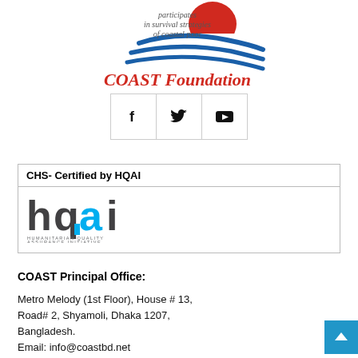[Figure (logo): COAST Foundation logo with wave and sun graphic and italic text 'participates in survival strategies of coastal poor' above bold red text 'COAST Foundation']
[Figure (other): Social media icons bar showing Facebook, Twitter, and YouTube icons in a bordered three-cell row]
[Figure (other): Box titled 'CHS- Certified by HQAI' containing the HQAI (Humanitarian Quality Assurance Initiative) logo]
COAST Principal Office:
Metro Melody (1st Floor), House # 13, Road# 2, Shyamoli, Dhaka 1207, Bangladesh.
Email: info@coastbd.net